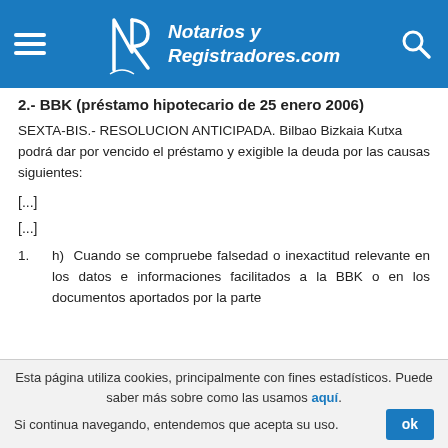Notarios y Registradores.com
2.- BBK (préstamo hipotecario de 25 enero 2006)
SEXTA-BIS.- RESOLUCION ANTICIPADA. Bilbao Bizkaia Kutxa podrá dar por vencido el préstamo y exigible la deuda por las causas siguientes:
[...]
[...]
h) Cuando se compruebe falsedad o inexactitud relevante en los datos e informaciones facilitados a la BBK o en los documentos aportados por la parte
Esta página utiliza cookies, principalmente con fines estadísticos. Puede saber más sobre como las usamos aquí. Si continua navegando, entendemos que acepta su uso.